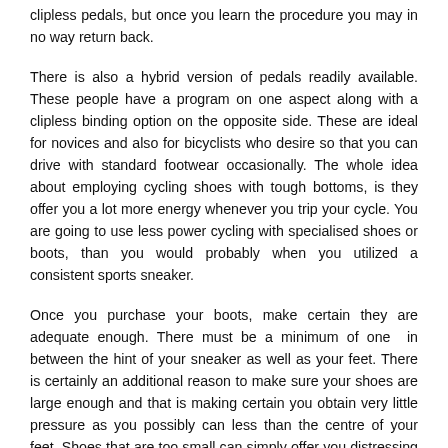clipless pedals, but once you learn the procedure you may in no way return back.
There is also a hybrid version of pedals readily available. These people have a program on one aspect along with a clipless binding option on the opposite side. These are ideal for novices and also for bicyclists who desire so that you can drive with standard footwear occasionally. The whole idea about employing cycling shoes with tough bottoms, is they offer you a lot more energy whenever you trip your cycle. You are going to use less power cycling with specialised shoes or boots, than you would probably when you utilized a consistent sports sneaker.
Once you purchase your boots, make certain they are adequate enough. There must be a minimum of one in between the hint of your sneaker as well as your feet. There is certainly an additional reason to make sure your shoes are large enough and that is making certain you obtain very little pressure as you possibly can less than the centre of your feet. Shoes that are too small can simply offer you distressing cramps following cycling a number of a long way.